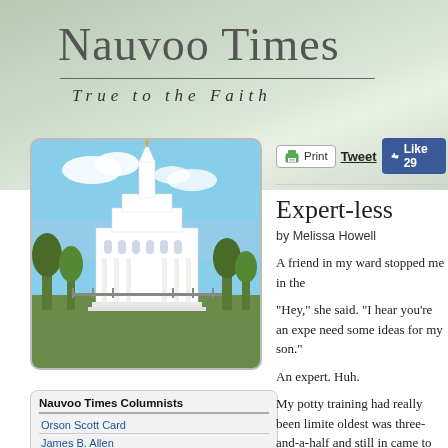Nauvoo Times
True to the Faith
[Figure (photo): Photo of the Nauvoo Temple, a white neoclassical building with a steeple, surrounded by trees against a blue sky]
Nauvoo Times Columnists
Orson Scott Card
James B. Allen
Heather Best
Hannah Bird
Hannah Bird
Sydney Bone
Jenni Bowman
Ami Chopine
College Voices
Expert-less
by Melissa Howell
A friend in my ward stopped me in the
“Hey,” she said. “I hear you’re an expe need some ideas for my son.”
An expert. Huh.
My potty training had really been limite oldest was three-and-a-half and still in came to stay with him and my toddler on a five-year anniversary trip to Seatt My parents took one look at Connor, s